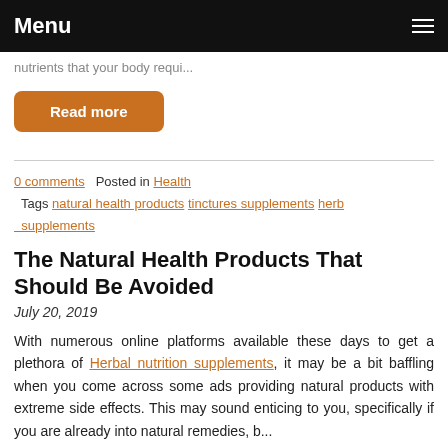Menu
nutrients that your body requi...
Read more
0 comments   Posted in Health   Tags natural health products tinctures supplements herb supplements
The Natural Health Products That Should Be Avoided
July 20, 2019
With numerous online platforms available these days to get a plethora of Herbal nutrition supplements, it may be a bit baffling when you come across some ads providing natural products with extreme side effects. This may sound enticing to you, specifically if you are already into natural remedies, b...
Read more